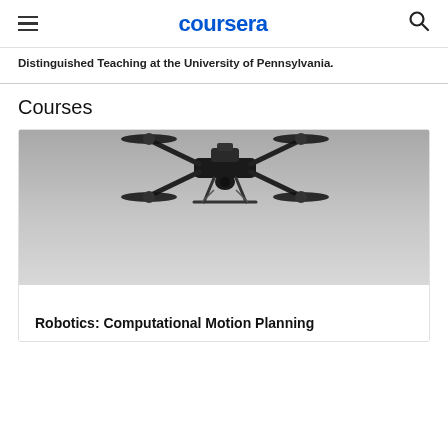coursera
Distinguished Teaching at the University of Pennsylvania.
Courses
[Figure (photo): Black and white photograph of a quadcopter drone flying against a gray sky, viewed from below at an angle.]
Robotics: Computational Motion Planning